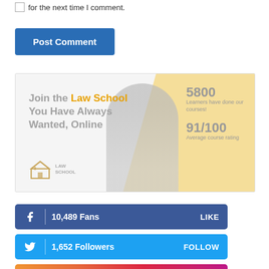for the next time I comment.
Post Comment
[Figure (illustration): Law School online advertisement banner. Left side shows text 'Join the Law School You Have Always Wanted, Online' with a Law School logo. Center shows a woman with curly hair and glasses in grayscale. Right side has a yellow background showing stats: 5800 Learners have done our courses! and 91/100 Average course rating.]
10,489 Fans   LIKE
1,652 Followers   FOLLOW